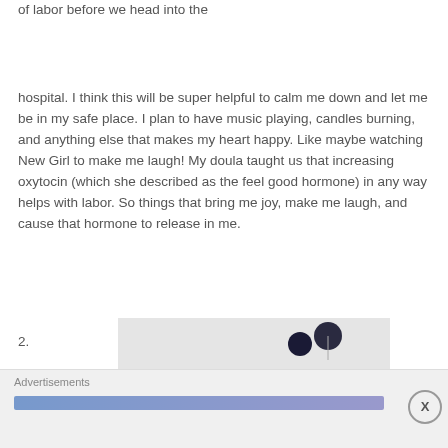of labor before we head into the
hospital. I think this will be super helpful to calm me down and let me be in my safe place. I plan to have music playing, candles burning, and anything else that makes my heart happy. Like maybe watching New Girl to make me laugh! My doula taught us that increasing oxytocin (which she described as the feel good hormone) in any way helps with labor. So things that bring me joy, make me laugh, and cause that hormone to release in me.
2.
[Figure (other): Advertisement banner with circular icons and a blue gradient bar, with close button]
Advertisements
X